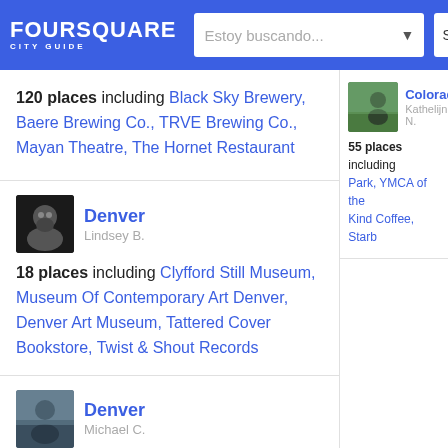FOURSQUARE CITY GUIDE — Estoy buscando... — San D
120 places including Black Sky Brewery, Baere Brewing Co., TRVE Brewing Co., Mayan Theatre, The Hornet Restaurant
[Figure (photo): Avatar photo of Lindsey B. — person with beard on dark background]
Denver — Lindsey B.
18 places including Clyfford Still Museum, Museum Of Contemporary Art Denver, Denver Art Museum, Tattered Cover Bookstore, Twist & Shout Records
[Figure (photo): Avatar photo of Michael C. — person outdoors]
Denver — Michael C.
[Figure (photo): Avatar photo for Colorado list — Kathelijne N. — person in green field]
Colorado — Kathelijne N.
55 places including Park, YMCA of the Kind Coffee, Starb
[Figure (photo): Avatar photo for Colorado B list — Lauren P. — person in red]
Colorado B — Lauren P.
63 places including Biscuit Company, S Cafe